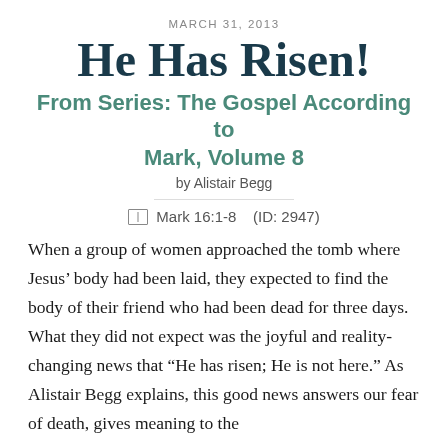MARCH 31, 2013
He Has Risen!
From Series: The Gospel According to Mark, Volume 8
by Alistair Begg
Mark 16:1-8   (ID: 2947)
When a group of women approached the tomb where Jesus' body had been laid, they expected to find the body of their friend who had been dead for three days. What they did not expect was the joyful and reality-changing news that “He has risen; He is not here.” As Alistair Begg explains, this good news answers our fear of death, gives meaning to the